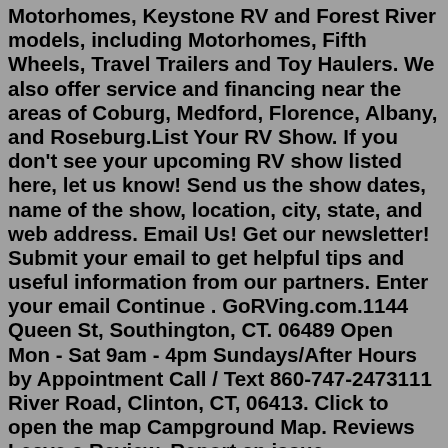Motorhomes, Keystone RV and Forest River models, including Motorhomes, Fifth Wheels, Travel Trailers and Toy Haulers. We also offer service and financing near the areas of Coburg, Medford, Florence, Albany, and Roseburg.List Your RV Show. If you don't see your upcoming RV show listed here, let us know! Send us the show dates, name of the show, location, city, state, and web address. Email Us! Get our newsletter! Submit your email to get helpful tips and useful information from our partners. Enter your email Continue . GoRVing.com.1144 Queen St, Southington, CT. 06489 Open Mon - Sat 9am - 4pm Sundays/After Hours by Appointment Call / Text 860-747-2473111 River Road, Clinton, CT, 06413. Click to open the map Campground Map. Reviews Leave a Review. Report an issue ... Campers World Campground Griswold, Connecticut 4.0. Reviews 2 | Photos 4. From ... From $74.00 USD / Night 4.0. Aces High RV Park East Lyme, Connecticut 4.0. Reviews 1 | Photos 4. Nearby Locations. Baltic RV Parks; Rozrah RV... This forum exclusively contains